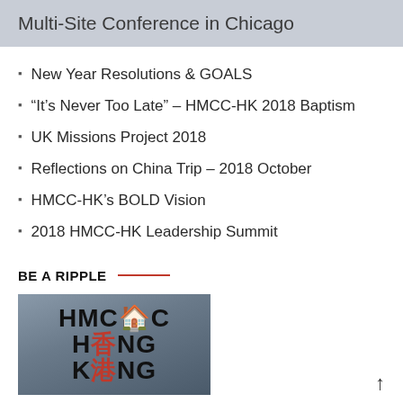Multi-Site Conference in Chicago
New Year Resolutions & GOALS
“It’s Never Too Late” – HMCC-HK 2018 Baptism
UK Missions Project 2018
Reflections on China Trip – 2018 October
HMCC-HK’s BOLD Vision
2018 HMCC-HK Leadership Summit
BE A RIPPLE
[Figure (photo): HMCC Hong Kong logo image showing stylized HMCC and Chinese characters on a city skyline background]